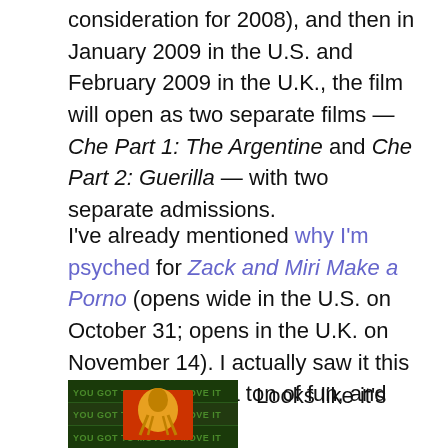consideration for 2008), and then in January 2009 in the U.S. and February 2009 in the U.K., the film will open as two separate films — Che Part 1: The Argentine and Che Part 2: Guerilla — with two separate admissions.
I've already mentioned why I'm psyched for Zack and Miri Make a Porno (opens wide in the U.S. on October 31; opens in the U.K. on November 14). I actually saw it this afternoon — it's a ton of fun, and quite sweet.
[Figure (photo): Movie poster or promotional image with text 'YOU GOT TO MOVE IT MOVE IT' repeated on a green/dark background with film imagery]
Looks like it's